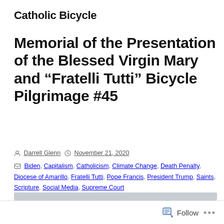Catholic Bicycle
Memorial of the Presentation of the Blessed Virgin Mary and “Fratelli Tutti” Bicycle Pilgrimage #45
By Darrell Glenn  •  November 21, 2020
Biden, Capitalism, Catholicism, Climate Change, Death Penalty, Diocese of Amarillo, Fratelli Tutti, Pope Francis, President Trump, Saints, Scripture, Social Media, Supreme Court
Bishop Zurek, Presentation of the Blessed Virgin Mary